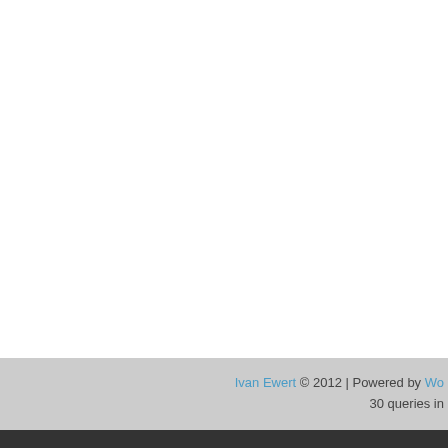Ivan Ewert © 2012 | Powered by Wo... 30 queries in...